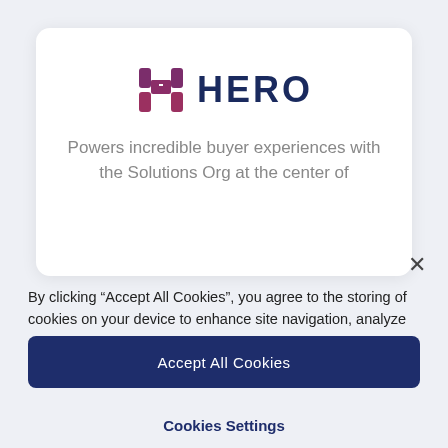[Figure (logo): HERO logo: stylized H icon in purple/maroon gradient with bold dark navy HERO text]
Powers incredible buyer experiences with the Solutions Org at the center of
By clicking “Accept All Cookies”, you agree to the storing of cookies on your device to enhance site navigation, analyze site usage, and assist in our marketing efforts. More information.
Accept All Cookies
Cookies Settings